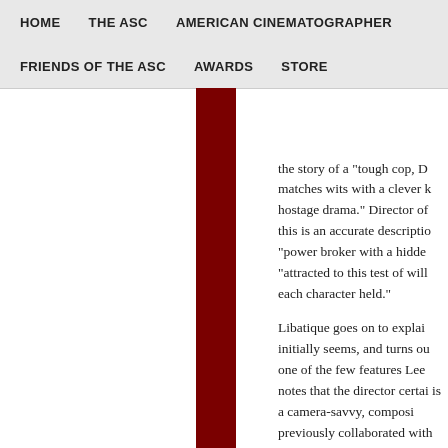HOME   THE ASC   AMERICAN CINEMATOGRAPHER   FRIENDS OF THE ASC   AWARDS   STORE
the story of a "tough cop, D matches wits with a clever k hostage drama." Director of this is an accurate descriptio "power broker with a hidde "attracted to this test of will each character held."
Libatique goes on to explai initially seems, and turns ou one of the few features Lee notes that the director certai is a camera-savvy, composi previously collaborated with number of commercials. "H scene play out and get all ot single-camera-setup directo doing it. He prefers to get th the cameras so he can get th actors have to perform in ev
"I don't think our collabora hadn't shot a feature for him cameras, and I know that it